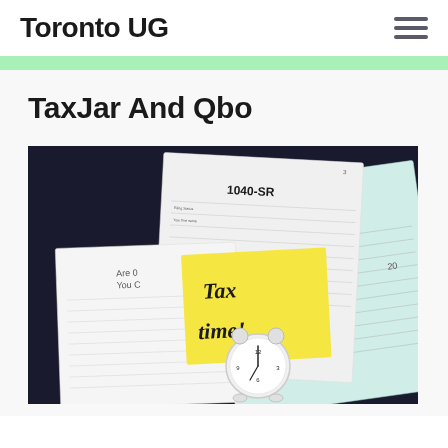Toronto UG
TaxJar And Qbo
[Figure (photo): Photo of U.S. tax forms 1040-SR and 1040 on a dark background, with a yellow sticky note reading 'Tax time!' and a small white alarm clock in the foreground.]